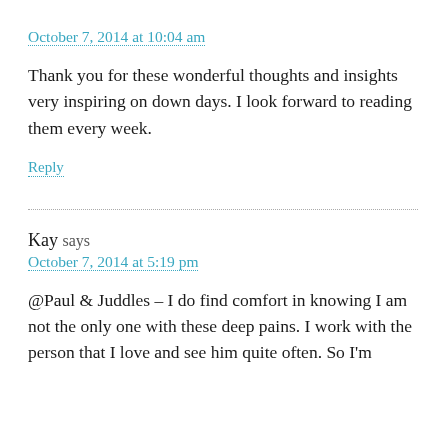October 7, 2014 at 10:04 am
Thank you for these wonderful thoughts and insights very inspiring on down days. I look forward to reading them every week.
Reply
Kay says
October 7, 2014 at 5:19 pm
@Paul & Juddles – I do find comfort in knowing I am not the only one with these deep pains. I work with the person that I love and see him quite often. So I'm